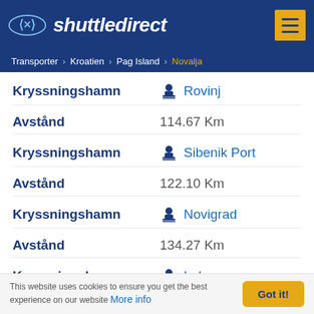shuttledirect
Transporter > Kroatien > Pag Island > Novalja
| Label | Value |
| --- | --- |
| Kryssningshamn | Rovinj |
| Avstånd | 114.67 Km |
| Kryssningshamn | Sibenik Port |
| Avstånd | 122.10 Km |
| Kryssningshamn | Novigrad |
| Avstånd | 134.27 Km |
| Kryssningshamn | Luka umag |
This website uses cookies to ensure you get the best experience on our website More info Got it!